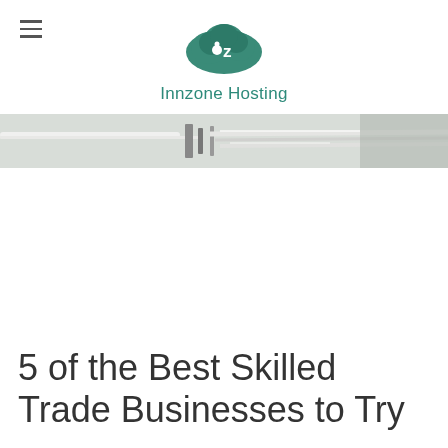Innzone Hosting
[Figure (photo): Partial view of a webpage hero image showing blurred metallic/silver tools or equipment against a light background]
5 of the Best Skilled Trade Businesses to Try